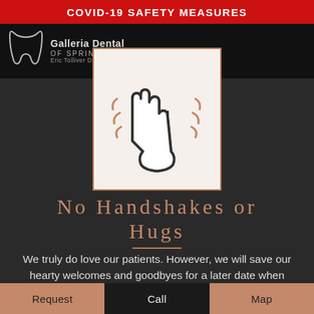COVID-19 SAFETY MEASURES
[Figure (logo): Galleria Dental of Springfield - Eric Tolliver DDS logo with tooth icon]
[Figure (illustration): A waving hand icon with motion lines indicating no handshakes, shown inside a brown-bordered white box]
No Handshakes or Hugs
We truly do love our patients. However, we will save our hearty welcomes and goodbyes for a later date when things are "back to normal".
Request | Call | Map